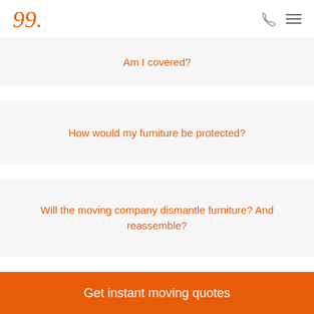Am I covered?
How would my furniture be protected?
Will the moving company dismantle furniture? And reassemble?
Get instant moving quotes